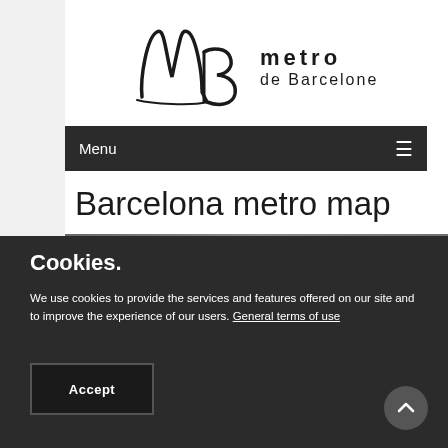[Figure (logo): Metro de Barcelone logo with stylized MB monogram and text 'metro de Barcelone']
Menu ☰
Barcelona metro map
[Figure (photo): Partial view of Barcelona metro map image]
Cookies.
We use cookies to provide the services and features offered on our site and to improve the experience of our users. General terms of use
Accept